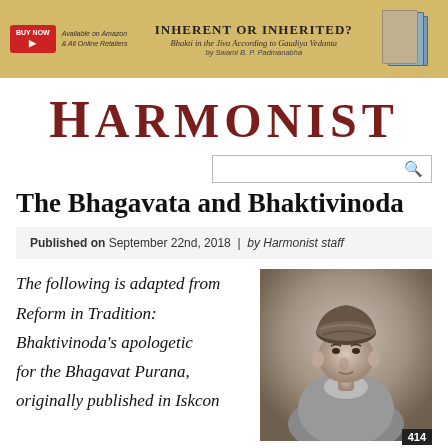[Figure (other): Advertisement banner for 'Inherent or Inherited? Bhakti in the Jiva According to Gaudiya Vedanta by Swami B. P. Padmanabha'. Shows a BUY NOW button, book image, and text on a golden/tan background.]
HARMONIST
[Search box]
The Bhagavata and Bhaktivinoda
Published on September 22nd, 2018 | by Harmonist staff
The following is adapted from Reform in Tradition: Bhaktivinoda's apologetic for the Bhagavat Purana, originally published in Iskcon
[Figure (photo): Black and white portrait photograph of Bhaktivinoda Thakura, a man wearing traditional Indian attire and a turban, seated and looking to the side. Page number 414 shown in bottom right corner.]